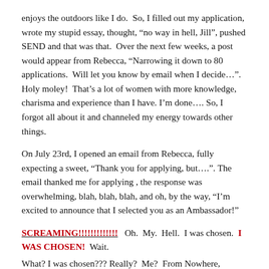enjoys the outdoors like I do.  So, I filled out my application, wrote my stupid essay, thought, “no way in hell, Jill”, pushed SEND and that was that.  Over the next few weeks, a post would appear from Rebecca, “Narrowing it down to 80 applications.  Will let you know by email when I decide…”.  Holy moley!  That’s a lot of women with more knowledge, charisma and experience than I have. I’m done…. So, I forgot all about it and channeled my energy towards other things.
On July 23rd, I opened an email from Rebecca, fully expecting a sweet, “Thank you for applying, but….”. The email thanked me for applying , the response was overwhelming, blah, blah, blah, and oh, by the way, “I’m excited to announce that I selected you as an Ambassador!”
SCREAMING!!!!!!!!!!!!!  Oh. My. Hell. I was chosen.  I WAS CHOSEN!  Wait.
What? I was chosen??? Really?  Me?  From Nowhere, Colorado?? Me? Really?? I must have read and reread